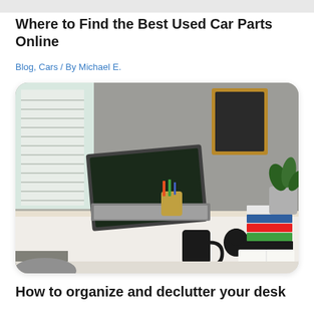Where to Find the Best Used Car Parts Online
Blog, Cars / By Michael E.
[Figure (photo): A tidy home office desk with an open laptop, a black coffee mug, a small decorative black bird figurine, stacked colorful books, a potted plant in a metal bucket, and a framed chalkboard on the wall in the background. Window blinds are visible to the left.]
How to organize and declutter your desk